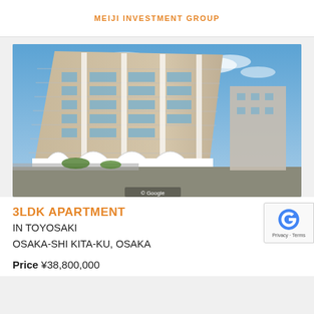MEIJI INVESTMENT GROUP
[Figure (photo): Exterior street-level view of a multi-story residential apartment building in Toyosaki, Osaka. The building is approximately 10 stories tall with beige/cream facade, white concrete balcony columns, and arched ground-floor entrances. Blue sky with light clouds in background.]
3LDK APARTMENT
IN TOYOSAKI
OSAKA-SHI KITA-KU, OSAKA
Price ¥38,800,000